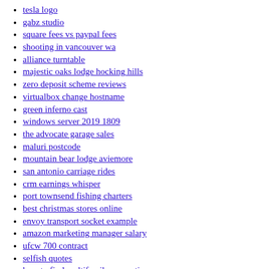tesla logo
gabz studio
square fees vs paypal fees
shooting in vancouver wa
alliance turntable
majestic oaks lodge hocking hills
zero deposit scheme reviews
virtualbox change hostname
green inferno cast
windows server 2019 1809
the advocate garage sales
maluri postcode
mountain bear lodge aviemore
san antonio carriage rides
crm earnings whisper
port townsend fishing charters
best christmas stores online
envoy transport socket example
amazon marketing manager salary
ufcw 700 contract
selfish quotes
how to find multifamily properties
farmland in north western tennessee
12 week dumbbell workout plan pdf
what are the issues of cyber crime